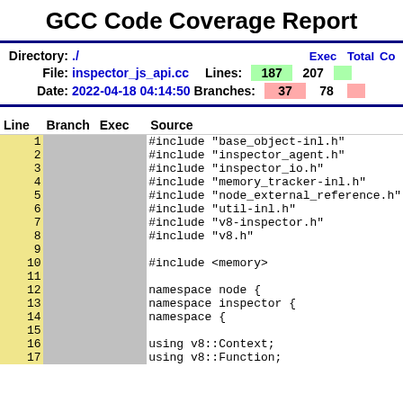GCC Code Coverage Report
| Directory: | ./ |  | Exec | Total | Co |
| --- | --- | --- | --- | --- | --- |
| File: | inspector_js_api.cc | Lines: | 187 | 207 |  |
| Date: | 2022-04-18 04:14:50 | Branches: | 37 | 78 |  |
| Line | Branch | Exec | Source |
| --- | --- | --- | --- |
| 1 |  |  | #include "base_object-inl.h" |
| 2 |  |  | #include "inspector_agent.h" |
| 3 |  |  | #include "inspector_io.h" |
| 4 |  |  | #include "memory_tracker-inl.h" |
| 5 |  |  | #include "node_external_reference.h" |
| 6 |  |  | #include "util-inl.h" |
| 7 |  |  | #include "v8-inspector.h" |
| 8 |  |  | #include "v8.h" |
| 9 |  |  |  |
| 10 |  |  | #include <memory> |
| 11 |  |  |  |
| 12 |  |  | namespace node { |
| 13 |  |  | namespace inspector { |
| 14 |  |  | namespace { |
| 15 |  |  |  |
| 16 |  |  | using v8::Context; |
| 17 |  |  | using v8::Function; |